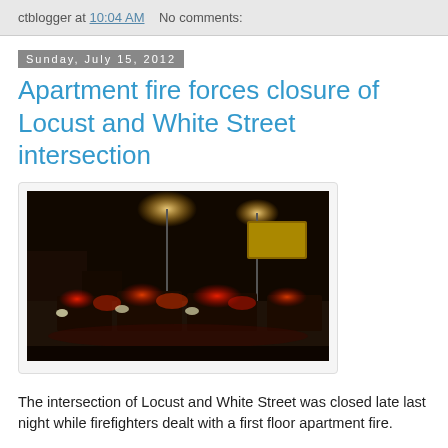ctblogger at 10:04 AM   No comments:
Sunday, July 15, 2012
Apartment fire forces closure of Locust and White Street intersection
[Figure (photo): Night photo of an intersection with multiple emergency vehicles, fire trucks and police cars with red and white lights, billboard visible in background, dark sky]
The intersection of Locust and White Street was closed late last night while firefighters dealt with a first floor apartment fire.
According to the police on the scene, one person was taken to the hospital due to smoke inhalation. The cause of the fire was unknown at the time I was at the location.